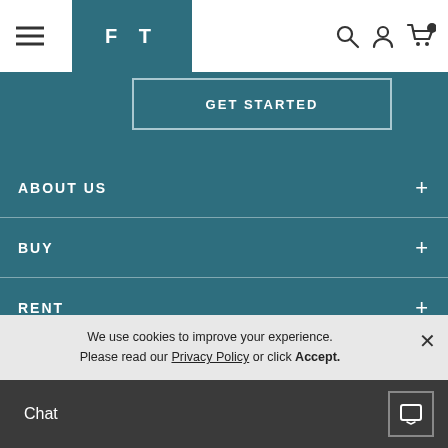[Figure (screenshot): Website header with hamburger menu, FT logo in teal box, and search/user/cart icons]
GET STARTED
ABOUT US +
BUY +
RENT +
OCCASIONS +
We use cookies to improve your experience. Please read our Privacy Policy or click Accept.
Chat